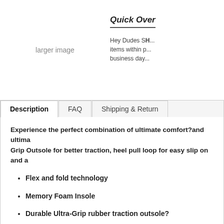larger image
Quick Over...
Hey Dudes SH... items within p... business day...
Description | FAQ | Shipping & Return
Experience the perfect combination of ultimate comfort?and ultima... Grip Outsole for better traction, heel pull loop for easy slip on and a...
Flex and fold technology
Memory Foam Insole
Durable Ultra-Grip rubber traction outsole?